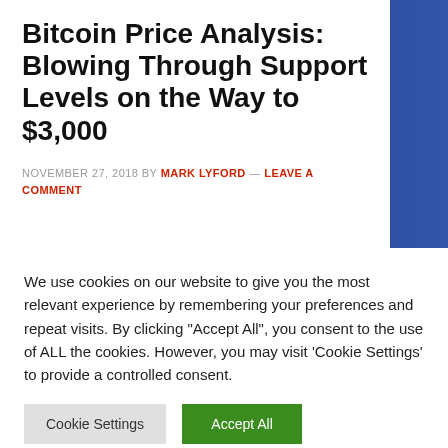Bitcoin Price Analysis: Blowing Through Support Levels on the Way to $3,000
NOVEMBER 27, 2018 BY MARK LYFORD — LEAVE A COMMENT
We use cookies on our website to give you the most relevant experience by remembering your preferences and repeat visits. By clicking "Accept All", you consent to the use of ALL the cookies. However, you may visit 'Cookie Settings' to provide a controlled consent.